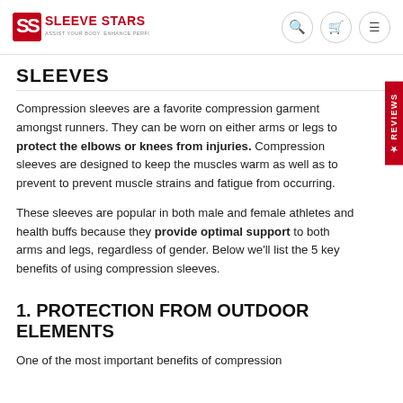SLEEVE STARS
SLEEVES
Compression sleeves are a favorite compression garment amongst runners. They can be worn on either arms or legs to protect the elbows or knees from injuries. Compression sleeves are designed to keep the muscles warm as well as to prevent to prevent muscle strains and fatigue from occurring.
These sleeves are popular in both male and female athletes and health buffs because they provide optimal support to both arms and legs, regardless of gender. Below we'll list the 5 key benefits of using compression sleeves.
1. PROTECTION FROM OUTDOOR ELEMENTS
One of the most important benefits of compression